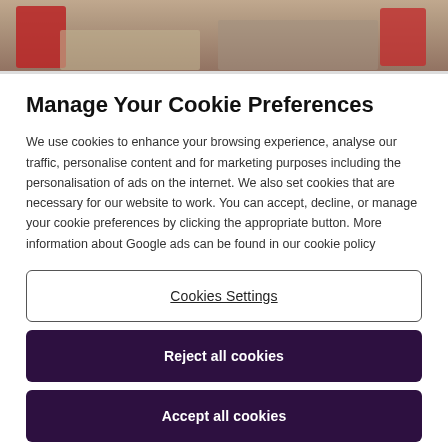[Figure (photo): Partial photo showing a living room couch scene with red and brown pillows and a table, cropped at top of page]
Manage Your Cookie Preferences
We use cookies to enhance your browsing experience, analyse our traffic, personalise content and for marketing purposes including the personalisation of ads on the internet. We also set cookies that are necessary for our website to work. You can accept, decline, or manage your cookie preferences by clicking the appropriate button. More information about Google ads can be found in our cookie policy
Cookies Settings
Reject all cookies
Accept all cookies